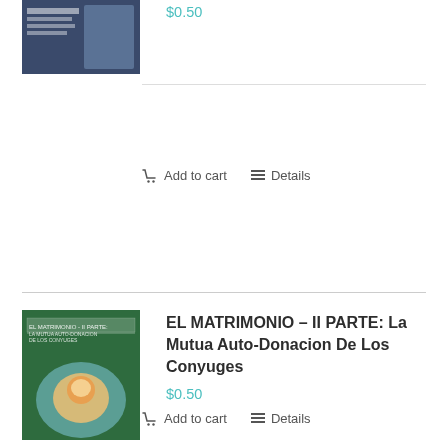$0.50
Add to cart
Details
[Figure (photo): Book cover image for first product (top, partially visible)]
EL MATRIMONIO – II PARTE: La Mutua Auto-Donacion De Los Conyuges
$0.50
[Figure (photo): Book cover image for EL MATRIMONIO II PARTE - green cover with family photo]
Add to cart
Details